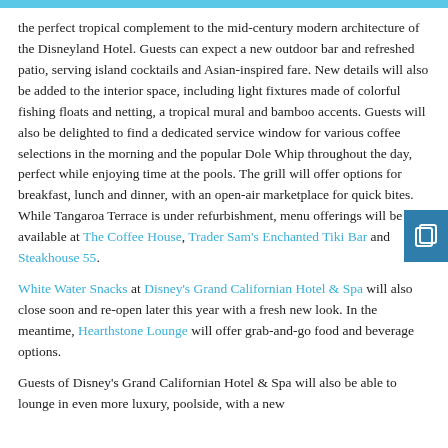the perfect tropical complement to the mid-century modern architecture of the Disneyland Hotel. Guests can expect a new outdoor bar and refreshed patio, serving island cocktails and Asian-inspired fare. New details will also be added to the interior space, including light fixtures made of colorful fishing floats and netting, a tropical mural and bamboo accents. Guests will also be delighted to find a dedicated service window for various coffee selections in the morning and the popular Dole Whip throughout the day, perfect while enjoying time at the pools. The grill will offer options for breakfast, lunch and dinner, with an open-air marketplace for quick bites. While Tangaroa Terrace is under refurbishment, menu offerings will be available at The Coffee House, Trader Sam's Enchanted Tiki Bar and Steakhouse 55.
White Water Snacks at Disney's Grand Californian Hotel & Spa will also close soon and re-open later this year with a fresh new look. In the meantime, Hearthstone Lounge will offer grab-and-go food and beverage options.
Guests of Disney's Grand Californian Hotel & Spa will also be able to lounge in even more luxury, poolside, with a new